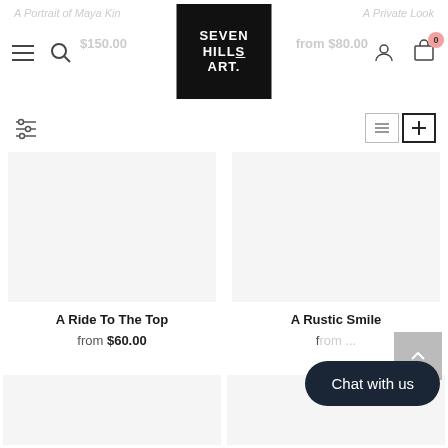Seven Hills Art — navigation header with logo, search, hamburger menu, user icon, cart (0)
A Portrait of Maya Kin — from $150.00 (ghost/scrolled)
A Private Look — from $80.00 (ghost/scrolled)
[Figure (logo): Seven Hills Art logo — black square with white hand-lettered text reading SEVEN HILLS ART.]
Filter / sort controls and grid view toggle buttons
A Ride To The Top
from $60.00
A Rustic Smile
from ...
Chat with us